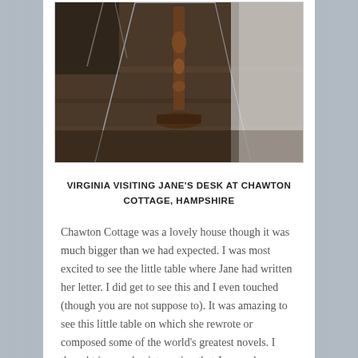[Figure (photo): Photo of Virginia visiting Jane Austen's desk at Chawton Cottage, Hampshire. The image shows a wooden table with ornate legs on a hardwood floor, viewed from above/angle. Camera equipment or similar items visible nearby.]
VIRGINIA VISITING JANE'S DESK AT CHAWTON COTTAGE, HAMPSHIRE
Chawton Cottage was a lovely house though it was much bigger than we had expected. I was most excited to see the little table where Jane had written her letter. I did get to see this and I even touched (though you are not suppose to). It was amazing to see this little table on which she rewrote or composed some of the world's greatest novels. I thought it was also interesting that Jane and